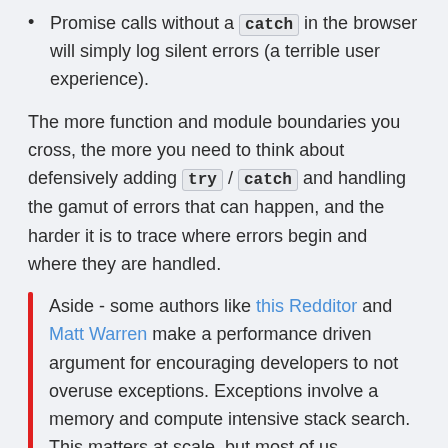Promise calls without a catch in the browser will simply log silent errors (a terrible user experience).
The more function and module boundaries you cross, the more you need to think about defensively adding try / catch and handling the gamut of errors that can happen, and the harder it is to trace where errors begin and where they are handled.
Aside - some authors like this Redditor and Matt Warren make a performance driven argument for encouraging developers to not overuse exceptions. Exceptions involve a memory and compute intensive stack search. This matters at scale, but most of us